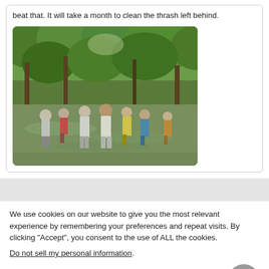beat that. It will take a month to clean the thrash left behind.
[Figure (photo): People wading through a shallow river or stream surrounded by lush green trees. Many individuals are walking through the water in colorful clothing.]
We use cookies on our website to give you the most relevant experience by remembering your preferences and repeat visits. By clicking “Accept”, you consent to the use of ALL the cookies.
Do not sell my personal information.
Cookie settings
ACCEPT